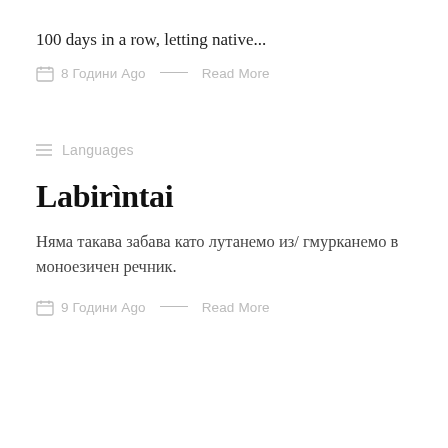100 days in a row, letting native...
8 Години Ago — Read More
≡  Languages
Labirìntai
Няма такава забава като лутането из/ гмурканемо в моноезичен речник.
9 Години Ago — Read More